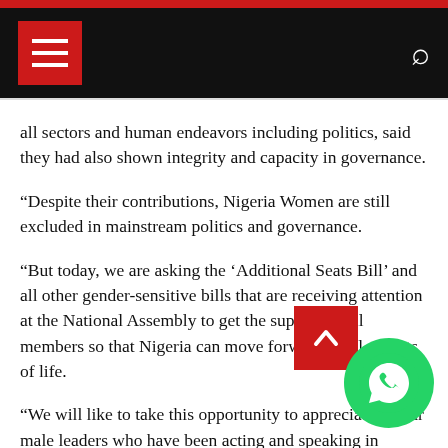Navigation bar with menu icon and search icon
all sectors and human endeavors including politics, said they had also shown integrity and capacity in governance.
“Despite their contributions, Nigeria Women are still excluded in mainstream politics and governance.
“But today, we are asking the ‘Additional Seats Bill’ and all other gender-sensitive bills that are receiving attention at the National Assembly to get the support of all members so that Nigeria can move forward in all aspects of life.
“We will like to take this opportunity to appreciate all our male leaders who have been acting and speaking in favour of the bill.